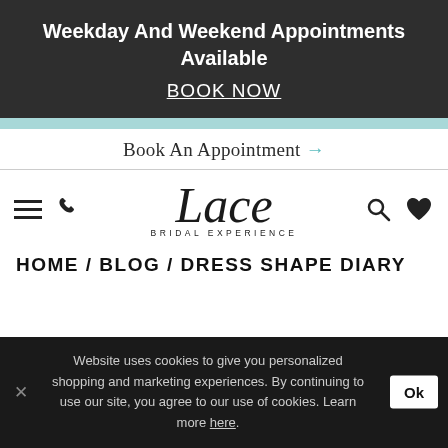Weekday And Weekend Appointments Available
BOOK NOW
Book An Appointment →
[Figure (logo): Lace Bridal Experience logo with hamburger menu, phone icon, search icon, and heart icon]
HOME / BLOG / DRESS SHAPE DIARY
Website uses cookies to give you personalized shopping and marketing experiences. By continuing to use our site, you agree to our use of cookies. Learn more here.